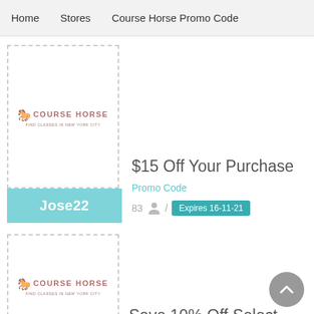Home   Stores   Course Horse Promo Code
[Figure (logo): Course Horse logo with horse icon and text, inside a dashed border card]
$15 Off Your Purchase
Promo Code
83  /  Expires 16-11-21
Jose22
[Figure (logo): Course Horse logo with horse icon and text, inside a dashed border card (second coupon)]
Save 10% Off Select Items